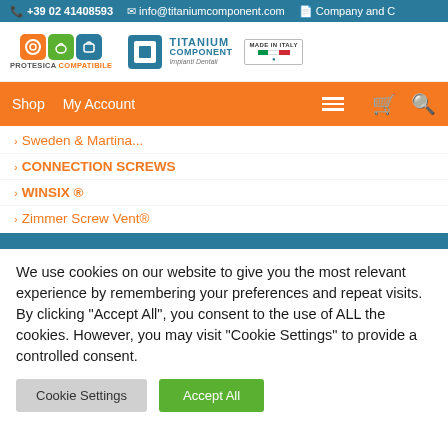+39 02 41408593  info@titaniumcomponent.com  Company and C
[Figure (logo): Protesica Compatibile logo with orange, green and teal icon boxes, and Titanium Component logo with Made in Italy badge]
Shop  My Account  [hamburger menu]  [cart icon]  [search icon]
Sweden & Martina...
CONNECTION SCREWS
WINSIX ®
Zimmer Screw Vent®
We use cookies on our website to give you the most relevant experience by remembering your preferences and repeat visits. By clicking "Accept All", you consent to the use of ALL the cookies. However, you may visit "Cookie Settings" to provide a controlled consent.
Cookie Settings  Accept All